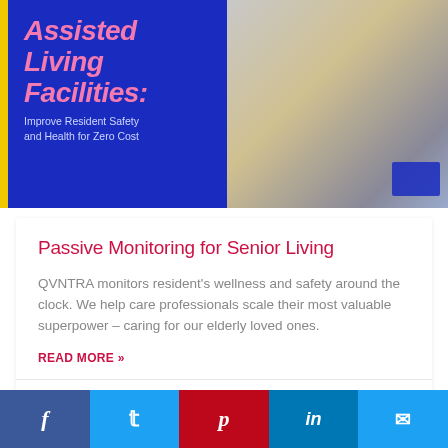[Figure (photo): Banner image for Assisted Living Facilities guide: left side shows blue background with yellow stripe, pink bold italic text reading 'Assisted Living Facilities:' and subtitle 'Improve Resident Safety and Health for Zero Cost'; right side shows a caregiver helping an elderly patient]
Passive Monitoring for Senior Living
QVNTRA monitors resident's wellness and safety around the clock. We help care professionals scale their most valuable superpower – caring for our elderly loved ones.
READ MORE »
censonhealth • July 4, 2022
[Figure (infographic): Social media share bar with Facebook, Twitter, Pinterest, LinkedIn, and Email buttons]